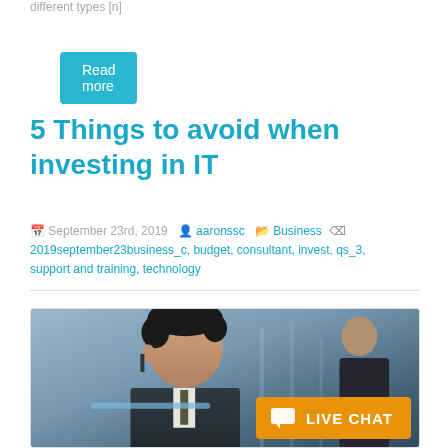different types [n]
Read more
5 Things to avoid when investing in IT
September 23rd, 2019  aaronssc  Business  2019september23business_c, budget, consultant, invest, qs_3, support and training, technology
[Figure (photo): A man in a suit looking at a laptop screen, with another person visible in the background. A live chat badge is visible in the lower right corner.]